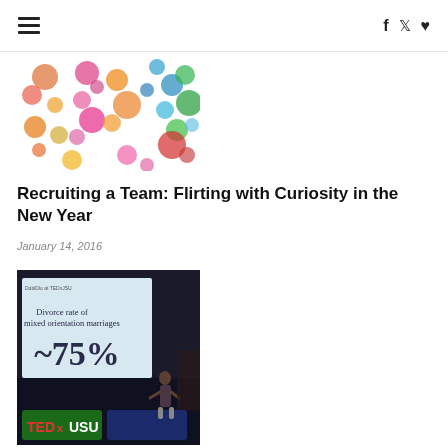≡   f  🐦  ♥
[Figure (illustration): Colorful watercolor painted circles in various colors (orange, pink, green, blue, red, yellow) on a white background]
Recruiting a Team: Flirting with Curiosity in the New Year
January 14, 2016
[Figure (photo): A speaker standing on a TEDxUSU stage next to a large screen displaying 'Divorce rate of mixed orientation marriages ~75%' in large text. The TEDxUSU logo is visible on the front of the stage.]